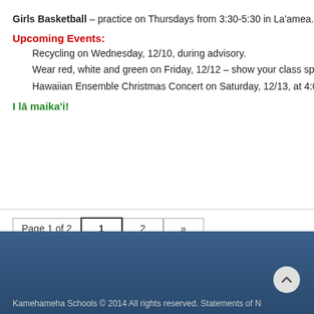Girls Basketball – practice on Thursdays from 3:30-5:30 in La'amea.
Upcoming Events:
Recycling on Wednesday, 12/10, during advisory.
Wear red, white and green on Friday, 12/12 – show your class spi…
Hawaiian Ensemble Christmas Concert on Saturday, 12/13, at 4:0…
I lā maika'i!
Page 1 of 2  1  2  »
Kamehameha Schools © 2014 All rights reserved. Statements of …